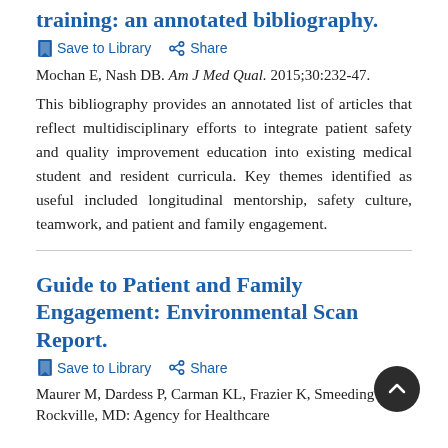training: an annotated bibliography.
Save to Library   Share
Mochan E, Nash DB. Am J Med Qual. 2015;30:232-47.
This bibliography provides an annotated list of articles that reflect multidisciplinary efforts to integrate patient safety and quality improvement education into existing medical student and resident curricula. Key themes identified as useful included longitudinal mentorship, safety culture, teamwork, and patient and family engagement.
Guide to Patient and Family Engagement: Environmental Scan Report.
Save to Library   Share
Maurer M, Dardess P, Carman KL, Frazier K, Smeeding L. Rockville, MD: Agency for Healthcare